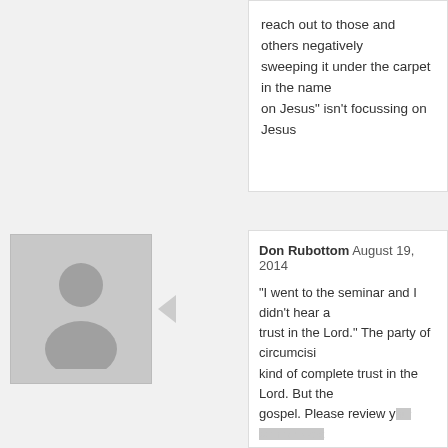reach out to those and others negatively sweeping it under the carpet in the name on Jesus" isn't focussing on Jesus
Don Rubottom August 19, 2014
"I went to the seminar and I didn't hear a trust in the Lord." The party of circumcisi kind of complete trust in the Lord. But the gospel. Please review your seminar work to see whether those things are so. The p were immersed in Gothard's teachings fo Guidance that you advocate, have come deceptive and false those teachings were from the falsehoods and I thank God for his teachings. And you judge their carefu based on their statement of beliefs? Can you tell me what baby you fear is be bathwater? Some have examined that ca years and can't find the baby. What quan think disqualifies a teacher in the church'